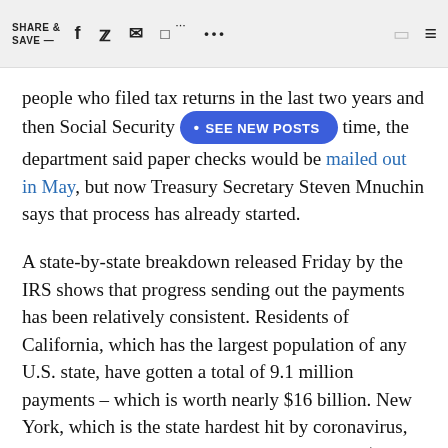SHARE & SAVE —  [social icons: facebook, twitter, email, chat, more, bookmark, menu]
people who filed tax returns in the last two years and then Social Security [SEE NEW POSTS] time, the department said paper checks would be mailed out in May, but now Treasury Secretary Steven Mnuchin says that process has already started.
A state-by-state breakdown released Friday by the IRS shows that progress sending out the payments has been relatively consistent. Residents of California, which has the largest population of any U.S. state, have gotten a total of 9.1 million payments – which is worth nearly $16 billion. New York, which is the state hardest hit by coronavirus, has seen 5.5 million payments totaling about $9.4 billion.
For a refresher on the IRS payment process, click